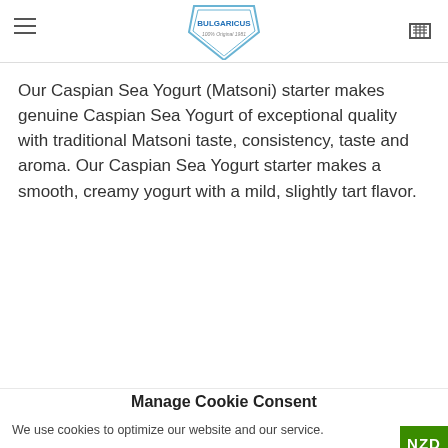BULGARICUS
Our Caspian Sea Yogurt (Matsoni) starter makes genuine Caspian Sea Yogurt of exceptional quality with traditional Matsoni taste, consistency, taste and aroma. Our Caspian Sea Yogurt starter makes a smooth, creamy yogurt with a mild, slightly tart flavor.
Manage Cookie Consent
We use cookies to optimize our website and our service.
ACCEPT
DENY
PREFERENCES